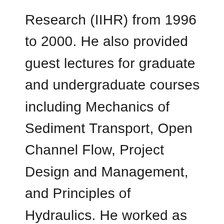Research (IIHR) from 1996 to 2000. He also provided guest lectures for graduate and undergraduate courses including Mechanics of Sediment Transport, Open Channel Flow, Project Design and Management, and Principles of Hydraulics. He worked as an associate professor at Carroll College in Helena Montana from 2000 to 2006 where he taught upper level civil engineering courses in fluid mechanics, hydraulics, hydrology, environmental engineering, water and wastewater treatment, senior project design, and engineering economics. He also taught courses in international perspectives in engineering that included trips to Italy featuring ancient engineering achievements